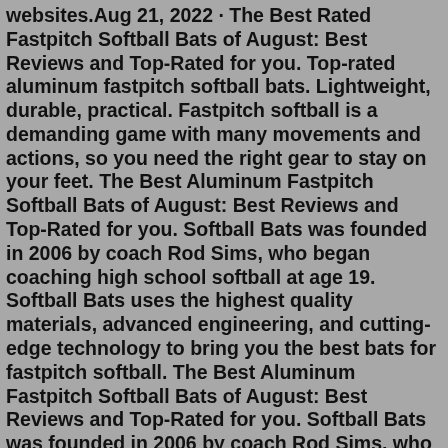websites.Aug 21, 2022 · The Best Rated Fastpitch Softball Bats of August: Best Reviews and Top-Rated for you. Top-rated aluminum fastpitch softball bats. Lightweight, durable, practical. Fastpitch softball is a demanding game with many movements and actions, so you need the right gear to stay on your feet. The Best Aluminum Fastpitch Softball Bats of August: Best Reviews and Top-Rated for you. Softball Bats was founded in 2006 by coach Rod Sims, who began coaching high school softball at age 19. Softball Bats uses the highest quality materials, advanced engineering, and cutting-edge technology to bring you the best bats for fastpitch softball. The Best Aluminum Fastpitch Softball Bats of August: Best Reviews and Top-Rated for you. Softball Bats was founded in 2006 by coach Rod Sims, who began coaching high school softball at age 19. Softball Bats uses the highest quality materials, advanced engineering, and cutting-edge technology to bring you the best bats for fastpitch softball.Wilson A2000 Fastpitch Glove: Top 7 Best Fastpitch Softball Gloves